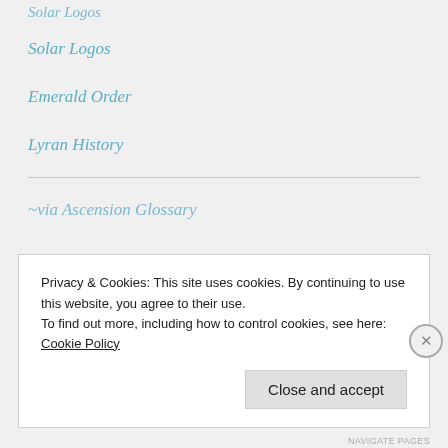Solar Logos
Solar Logos
Emerald Order
Lyran History
~via Ascension Glossary
Privacy & Cookies: This site uses cookies. By continuing to use this website, you agree to their use.
To find out more, including how to control cookies, see here: Cookie Policy
NAVIGATE PAGES